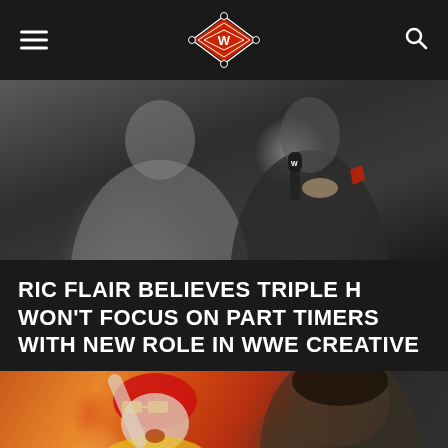[Wrestling news site logo and navigation]
[Figure (photo): Two men, one in a grey shirt and one in a dark suit holding a WWE microphone, photographed at a WWE event]
RIC FLAIR BELIEVES TRIPLE H WON'T FOCUS ON PART TIMERS WITH NEW ROLE IN WWE CREATIVE
[Figure (photo): Hulk Hogan in red bandana and yellow lei pointing upward, alongside a man with dark hair in the foreground]